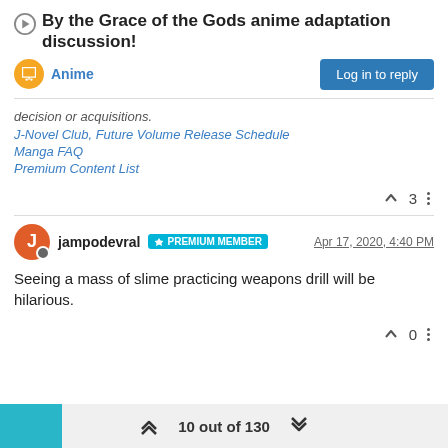By the Grace of the Gods anime adaptation discussion!
Anime
Log in to reply
decision or acquisitions.
J-Novel Club, Future Volume Release Schedule
Manga FAQ
Premium Content List
3
jampodevral  PREMIUM MEMBER  Apr 17, 2020, 4:40 PM
Seeing a mass of slime practicing weapons drill will be hilarious.
0
10 out of 130